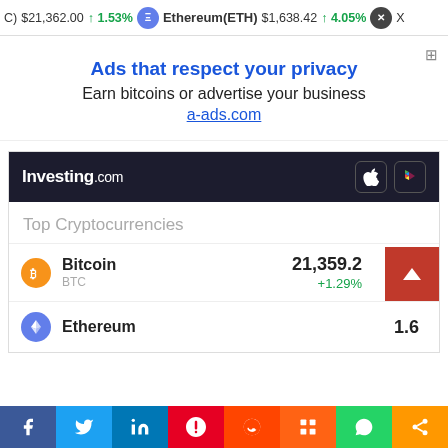BTC $21,362.00 ↑1.53% | Ethereum(ETH) $1,638.42 ↑4.05% | XRP
[Figure (screenshot): Ad banner: Ads that respect your privacy. Earn bitcoins or advertise your business. a-ads.com]
Ads that respect your privacy
Earn bitcoins or advertise your business
a-ads.com
Top Cryptocurrencies
| Cryptocurrency | Ticker | Price | Change |
| --- | --- | --- | --- |
| Bitcoin | BTC | 21,359.2 | +1.29% |
| Ethereum |  | 1.6... |  |
Social share bar: Facebook, Twitter, LinkedIn, Pinterest, Reddit, Mix, WhatsApp, Share